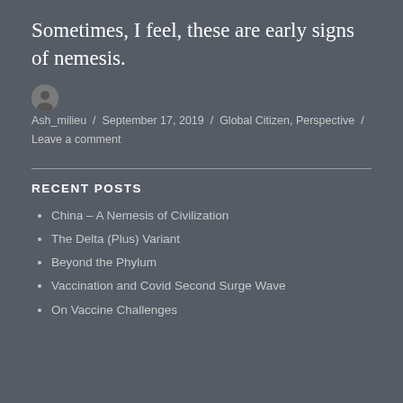Sometimes, I feel, these are early signs of nemesis.
Ash_milieu / September 17, 2019 / Global Citizen, Perspective / Leave a comment
RECENT POSTS
China – A Nemesis of Civilization
The Delta (Plus) Variant
Beyond the Phylum
Vaccination and Covid Second Surge Wave
On Vaccine Challenges